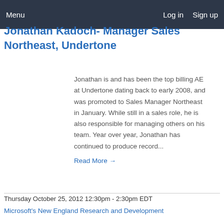Menu  Log in  Sign up
Jonathan Kadoch- Manager Sales Northeast, Undertone
Jonathan is and has been the top billing AE at Undertone dating back to early 2008, and was promoted to Sales Manager Northeast in January. While still in a sales role, he is also responsible for managing others on his team. Year over year, Jonathan has continued to produce record...
Read More →
Thursday October 25, 2012 12:30pm - 2:30pm EDT
Microsoft's New England Research and Development